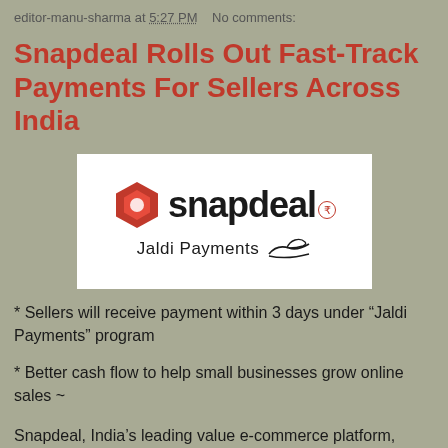editor-manu-sharma at 5:27 PM   No comments:
Snapdeal Rolls Out Fast-Track Payments For Sellers Across India
[Figure (logo): Snapdeal Jaldi Payments logo — red hexagon icon on left, 'snapdeal' text in bold black with rupee symbol circle, 'Jaldi Payments' text with hand illustration below]
* Sellers will receive payment within 3 days under “Jaldi Payments” program
* Better cash flow to help small businesses grow online sales ~
Snapdeal, India's leading value e-commerce platform, today rolled out fast-track payment options for sellers on its platform.  Under the “Jaldi Payments”, sellers will be able to receive payment within 3 days of the delivery of their